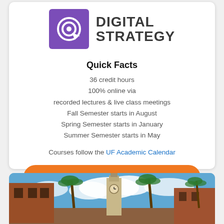[Figure (logo): Purple square logo with target/bullseye and cursor arrow icon]
DIGITAL STRATEGY
Quick Facts
36 credit hours
100% online via
recorded lectures & live class meetings
Fall Semester starts in August
Spring Semester starts in January
Summer Semester starts in May
Courses follow the UF Academic Calendar
DOWNLOAD INFO PACKET
[Figure (photo): University campus photo showing palm trees, a clock tower building, and a brick building under a partly cloudy blue sky]